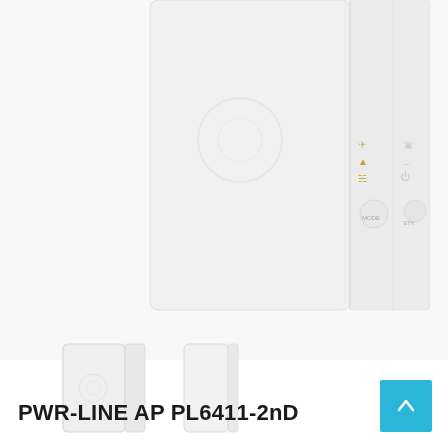[Figure (photo): Product photo of MikroTik PWR-LINE AP PL6411-2nD device shown from an angled perspective, white compact wireless access point with LED indicators visible on the side panel. The main image shows two units side-by-side at an angle. Below are two smaller thumbnail images of the same product.]
PWR-LINE AP PL6411-2nD